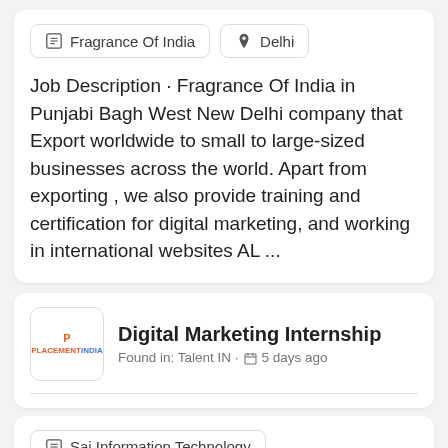Fragrance Of India
Delhi
Job Description · Fragrance Of India in Punjabi Bagh West New Delhi company that Export worldwide to small to large-sized businesses across the world. Apart from exporting , we also provide training and certification for digital marketing, and working in international websites AL ...
Digital Marketing Internship
Found in: Talent IN · 5 days ago
Sai Information Technology